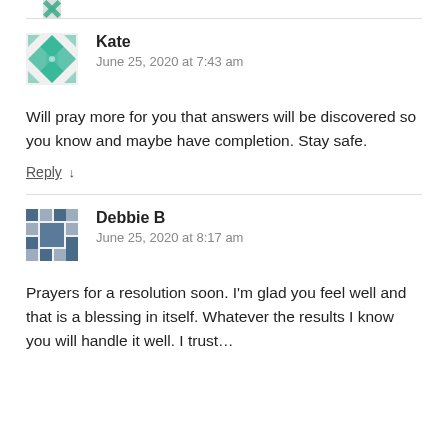[Figure (illustration): Partial avatar image at top of page, cut off]
Kate
June 25, 2020 at 7:43 am
Will pray more for you that answers will be discovered so you know and maybe have completion. Stay safe.
Reply ↓
[Figure (illustration): Avatar for Debbie B — geometric cross-hatch pattern in teal/dark blue]
Debbie B
June 25, 2020 at 8:17 am
Prayers for a resolution soon. I'm glad you feel well and that is a blessing in itself. Whatever the results I know you will handle it well. I trust...